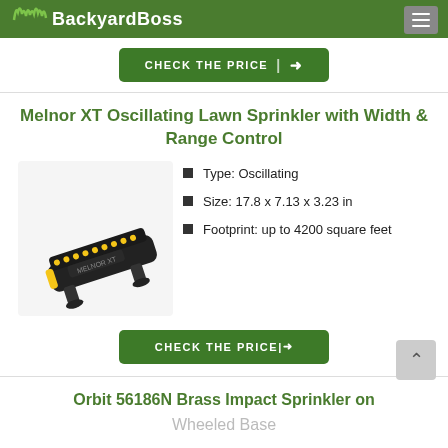BackyardBoss
[Figure (other): CHECK THE PRICE button with arrow]
Melnor XT Oscillating Lawn Sprinkler with Width & Range Control
[Figure (photo): Melnor XT Oscillating Lawn Sprinkler product image]
Type: Oscillating
Size: 17.8 x 7.13 x 3.23 in
Footprint: up to 4200 square feet
[Figure (other): CHECK THE PRICE button with arrow]
Orbit 56186N Brass Impact Sprinkler on Wheeled Base